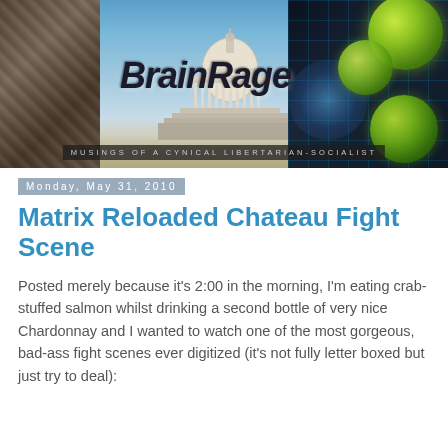[Figure (illustration): BrainRage blog header banner showing stone temple carvings on left, US Capitol building in center, green glowing orbs and blue glow on dark background on right, with title 'BrainRage' and subtitle 'Musings of a Cynical Libertarian-Socialist']
Monday, May 31, 2010
Matrix Reloaded Chateau Fight Scene
Posted merely because it's 2:00 in the morning, I'm eating crab-stuffed salmon whilst drinking a second bottle of very nice Chardonnay and I wanted to watch one of the most gorgeous, bad-ass fight scenes ever digitized (it's not fully letter boxed but just try to deal):